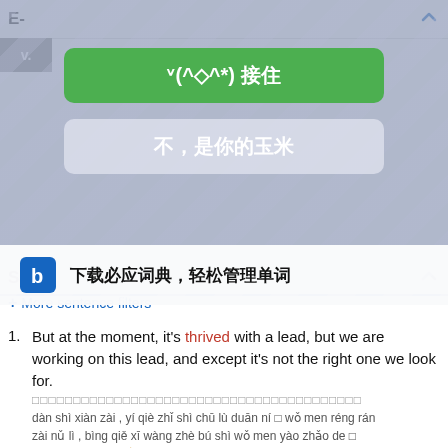E-
[Figure (screenshot): Green button with text: ᵛ(^◇^*) 接住]
[Figure (screenshot): Grey button with text: 不，是你的玉米]
[Figure (screenshot): Bing dictionary banner: 下载必应词典，轻松管理单词]
Sam
Definit
+ More sentence filters
But at the moment, it's thrived with a lead, but we are working on this lead, and except it's not the right one we look for.
□□□□□□□□□□□□□□□□□□□□□□□□□□□□□□□□□□□□□□□□□□□
dàn shì xiàn zài , yí qiè zhǐ shì chū lù duān ní □ wǒ men réng rán zài nǔ lì , bìng qiě xī wàng zhè bú shì wǒ men yào zhǎo de □
www.hxen.com 🔊
The paranoia about evil foreign designs that thrived under Mao and was discarded by Deng Xiaoping is still close to the surface.
□□□□□□□□□□□□□□□□□□□□□□□□□□□□□□□□□□□□□□□□□□□
zài máo zé dōng shí qī péng bó fā zhǎn □ zài dèng xiǎo píng shí qī bèi pāo qì de piān zhí de wài guó xié è tú móu lùn réng rán jiē yǒu